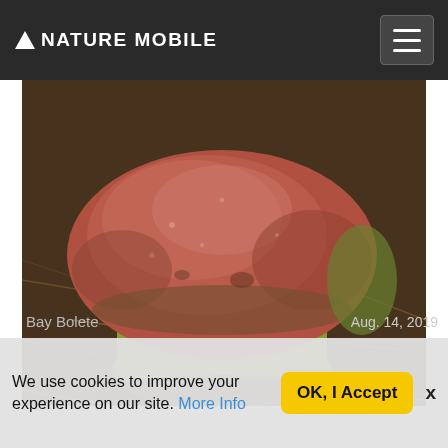NATURE MOBILE
[Figure (photo): Close-up photograph of a Bay Bolete mushroom on forest floor with pine needles and debris. The mushroom cap shows reddish-brown coloring on top with a greenish-yellow rim and underside.]
Aug. 14, 2019
Bay Bolete
We use cookies to improve your experience on our site. More Info
OK, I Accept
x